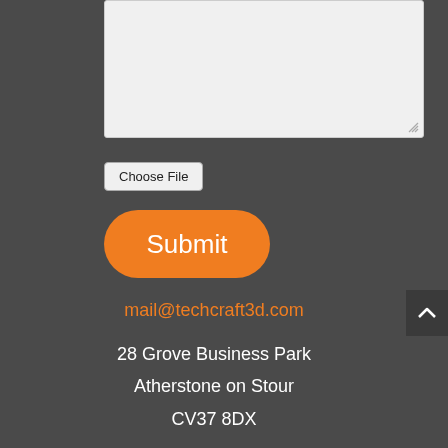[Figure (screenshot): A text area input field with light gray background and resize handle in bottom right corner]
Choose File
Submit
mail@techcraft3d.com
28 Grove Business Park
Atherstone on Stour
CV37 8DX